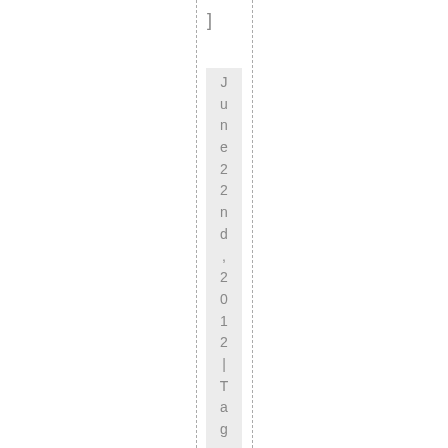]
June 22nd, 2012 | Tags: 2011